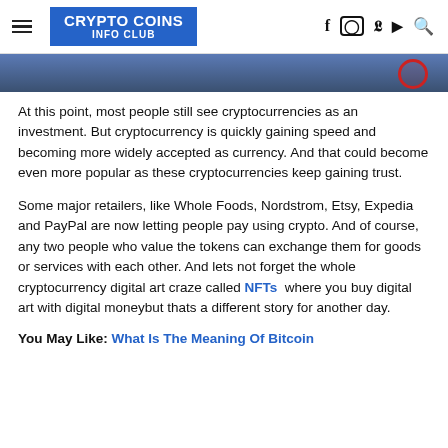CRYPTO COINS INFO CLUB
[Figure (screenshot): Partial hero image showing a dark blue banner with a red circle logo at right edge]
At this point, most people still see cryptocurrencies as an investment. But cryptocurrency is quickly gaining speed and becoming more widely accepted as currency. And that could become even more popular as these cryptocurrencies keep gaining trust.
Some major retailers, like Whole Foods, Nordstrom, Etsy, Expedia and PayPal are now letting people pay using crypto. And of course, any two people who value the tokens can exchange them for goods or services with each other. And lets not forget the whole cryptocurrency digital art craze called NFTs where you buy digital art with digital moneybut thats a different story for another day.
You May Like: What Is The Meaning Of Bitcoin